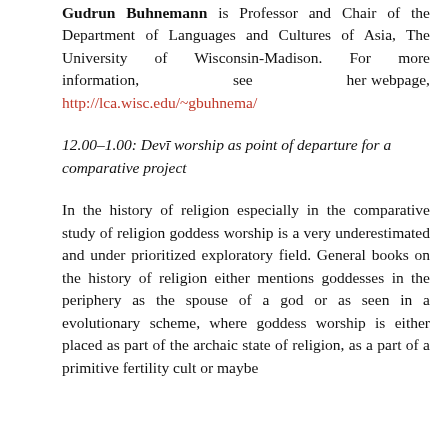Gudrun Buhnemann is Professor and Chair of the Department of Languages and Cultures of Asia, The University of Wisconsin-Madison. For more information, see her webpage, http://lca.wisc.edu/~gbuhnema/
12.00–1.00: Devī worship as point of departure for a comparative project
In the history of religion especially in the comparative study of religion goddess worship is a very underestimated and under prioritized exploratory field. General books on the history of religion either mentions goddesses in the periphery as the spouse of a god or as seen in a evolutionary scheme, where goddess worship is either placed as part of the archaic state of religion, as a part of a primitive fertility cult or maybe